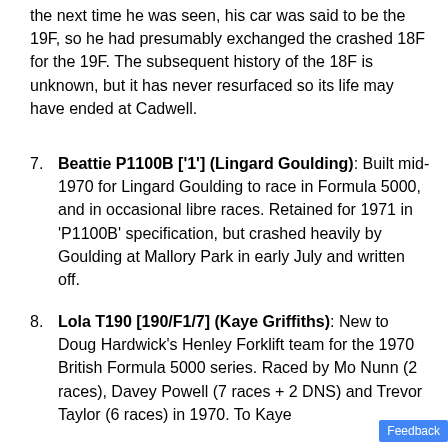the next time he was seen, his car was said to be the 19F, so he had presumably exchanged the crashed 18F for the 19F. The subsequent history of the 18F is unknown, but it has never resurfaced so its life may have ended at Cadwell.
7. Beattie P1100B ['1'] (Lingard Goulding): Built mid-1970 for Lingard Goulding to race in Formula 5000, and in occasional libre races. Retained for 1971 in 'P1100B' specification, but crashed heavily by Goulding at Mallory Park in early July and written off.
8. Lola T190 [190/F1/7] (Kaye Griffiths): New to Doug Hardwick's Henley Forklift team for the 1970 British Formula 5000 series. Raced by Mo Nunn (2 races), Davey Powell (7 races + 2 DNS) and Trevor Taylor (6 races) in 1970. To Kaye